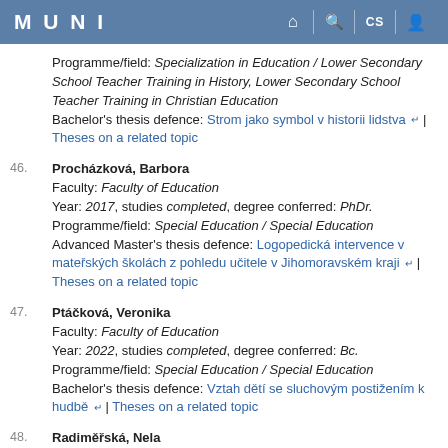MUNI
Programme/field: Specialization in Education / Lower Secondary School Teacher Training in History, Lower Secondary School Teacher Training in Christian Education
Bachelor's thesis defence: Strom jako symbol v historii lidstva | Theses on a related topic
46. Procházková, Barbora
Faculty: Faculty of Education
Year: 2017, studies completed, degree conferred: PhDr.
Programme/field: Special Education / Special Education
Advanced Master's thesis defence: Logopedická intervence v mateřských školách z pohledu učitele v Jihomoravském kraji | Theses on a related topic
47. Ptáčková, Veronika
Faculty: Faculty of Education
Year: 2022, studies completed, degree conferred: Bc.
Programme/field: Special Education / Special Education
Bachelor's thesis defence: Vztah dětí se sluchovým postižením k hudbě | Theses on a related topic
48. Radiměřská, Nela
Faculty: Faculty of Education